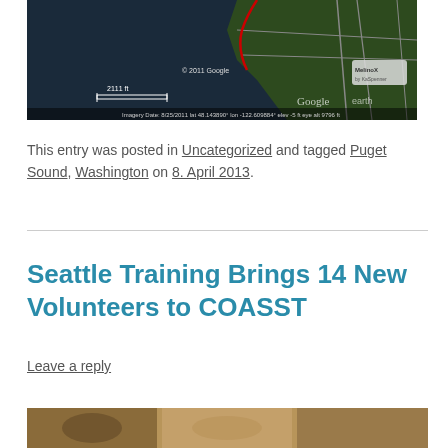[Figure (map): Google Earth satellite map showing coastline with red line marking, scale 2111 ft, imagery date 8/25/2011, lat 48.143890 lon -122.609884, elev -5 ft, eye alt 9796 ft]
This entry was posted in Uncategorized and tagged Puget Sound, Washington on 8. April 2013.
Seattle Training Brings 14 New Volunteers to COASST
Leave a reply
[Figure (photo): Bottom portion of a photo partially visible, showing warm-toned outdoor scene]